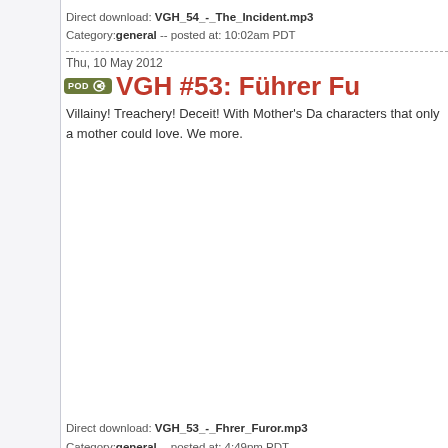Direct download: VGH_54_-_The_Incident.mp3
Category: general -- posted at: 10:02am PDT
Thu, 10 May 2012
VGH #53: Führer Fu...
Villainy! Treachery! Deceit! With Mother's Da... characters that only a mother could love. We... more.
Direct download: VGH_53_-_Fhrer_Furor.mp3
Category: general -- posted at: 4:49pm PDT
Thu, 3 May 2012
VGH #52: Squirrel P...
Inspired by the imminent release of The Ave...